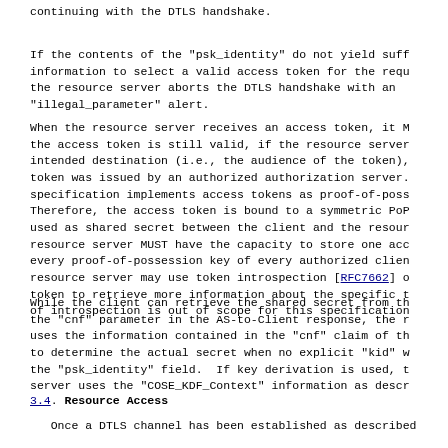continuing with the DTLS handshake.
If the contents of the "psk_identity" do not yield sufficient information to select a valid access token for the request, the resource server aborts the DTLS handshake with an "illegal_parameter" alert.
When the resource server receives an access token, it MUST verify the access token is still valid, if the resource server is the intended destination (i.e., the audience of the token), and if the token was issued by an authorized authorization server. This specification implements access tokens as proof-of-possession tokens. Therefore, the access token is bound to a symmetric PoP key that is used as shared secret between the client and the resource server. The resource server MUST have the capacity to store one access token and every proof-of-possession key of every authorized client. The resource server may use token introspection [RFC7662] on the access token to retrieve more information about the specific token. The use of introspection is out of scope for this specification.
While the client can retrieve the shared secret from the "cnf" claim in the "cnf" parameter in the AS-to-Client response, the resource server uses the information contained in the "cnf" claim of the access token to determine the actual secret when no explicit "kid" was included in the "psk_identity" field.  If key derivation is used, the resource server uses the "COSE_KDF_Context" information as described in
3.4.  Resource Access
Once a DTLS channel has been established as described